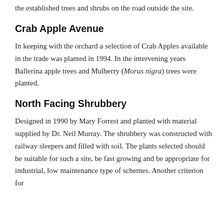the established trees and shrubs on the road outside the site.
Crab Apple Avenue
In keeping with the orchard a selection of Crab Apples available in the trade was planted in 1994. In the intervening years Ballerina apple trees and Mulberry (Morus nigra) trees were planted.
North Facing Shrubbery
Designed in 1990 by Mary Forrest and planted with material supplied by Dr. Neil Murray. The shrubbery was constructed with railway sleepers and filled with soil. The plants selected should be suitable for such a site, be fast growing and be appropriate for industrial, low maintenance type of schemes. Another criterion for